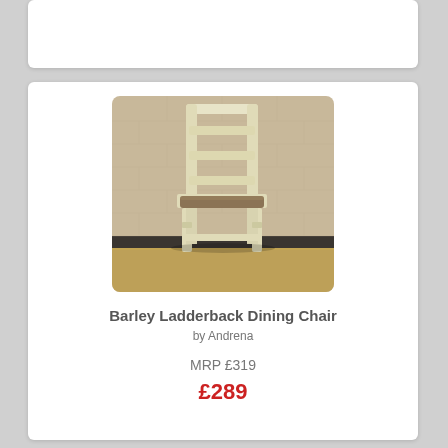[Figure (photo): A cream/off-white painted ladderback dining chair with a brown upholstered seat, photographed against a light brick wall background on a wooden floor.]
Barley Ladderback Dining Chair
by Andrena
MRP £319
£289